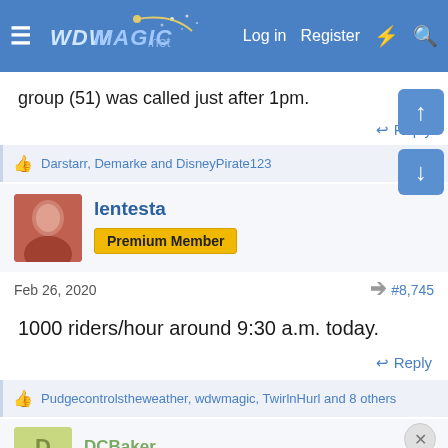WDWMAGIC — Log in  Register
group (51) was called just after 1pm.
↩ Reply
👍 Darstarr, Demarke and DisneyPirate123
lentesta
Premium Member
Feb 26, 2020  #8,745
1000 riders/hour around 9:30 a.m. today.
↩ Reply
👍 Pudgecontrolstheweather, wdwmagic, TwirlnHurl and 8 others
DCBaker